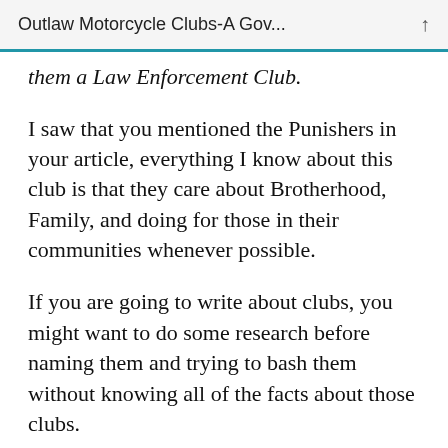Outlaw Motorcycle Clubs-A Gov...
them a Law Enforcement Club.
I saw that you mentioned the Punishers in your article, everything I know about this club is that they care about Brotherhood, Family, and doing for those in their communities whenever possible.
If you are going to write about clubs, you might want to do some research before naming them and trying to bash them without knowing all of the facts about those clubs.